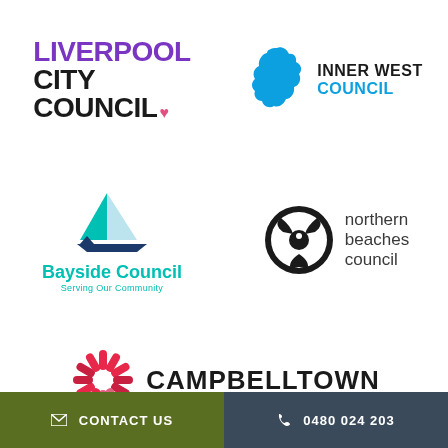[Figure (logo): Liverpool City Council logo — 'LIVERPOOL' in purple bold, 'CITY COUNCIL' in black bold with a pink heart dot]
[Figure (logo): Inner West Council logo — blue map shape of inner west Sydney with 'INNER WEST' in black and 'COUNCIL' in blue]
[Figure (logo): Bayside Council logo — sailboat/triangle icon in teal and blue, 'Bayside Council' in teal text, 'Serving Our Community' subtitle]
[Figure (logo): Northern Beaches Council logo — black circular bird/animal totem icon, 'northern beaches council' in dark grey text]
[Figure (logo): Campbelltown logo — pink/red starburst/sunburst icon, 'CAMPBELLTOWN' in black bold text]
✉ CONTACT US   📞 0480 024 203